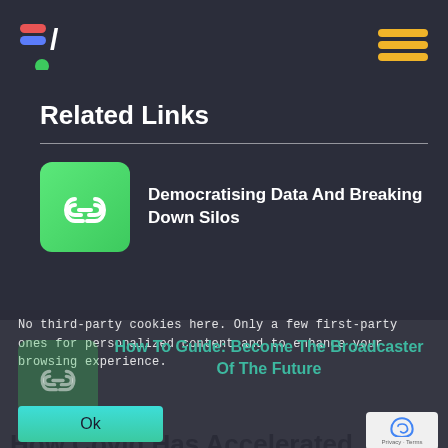Related Links
Democratising Data And Breaking Down Silos
How To Guide: Become The Broadcaster Of The Future
No third-party cookies here. Only a few first-party ones for personalized content and to enhance your browsing experience.
Ok
How Covid Has Accelerated